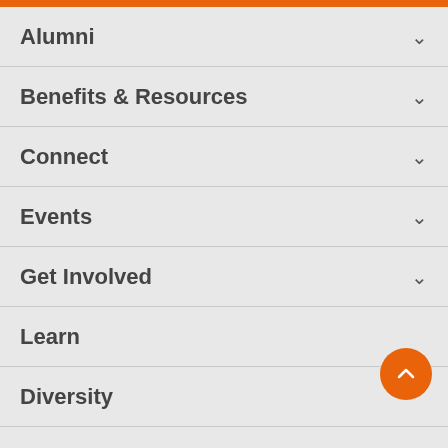Alumni
Benefits & Resources
Connect
Events
Get Involved
Learn
Diversity
Contact Us